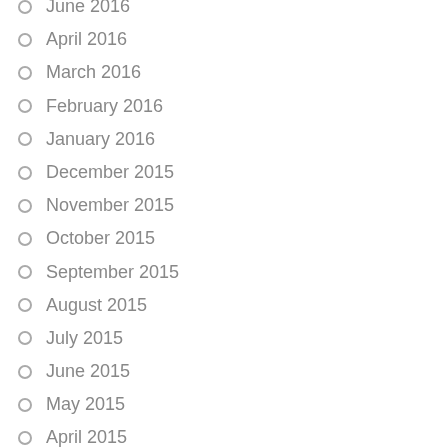June 2016
April 2016
March 2016
February 2016
January 2016
December 2015
November 2015
October 2015
September 2015
August 2015
July 2015
June 2015
May 2015
April 2015
March 2015
February 2015
January 2015
December 2014